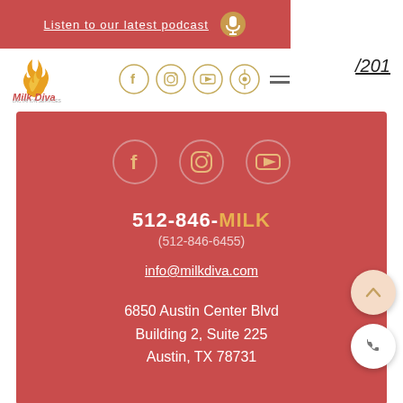Listen to our latest podcast
[Figure (logo): Milk Diva logo with flame icon]
/201
512-846-MILK (512-846-6455)
info@milkdiva.com
6850 Austin Center Blvd Building 2, Suite 225 Austin, TX 78731